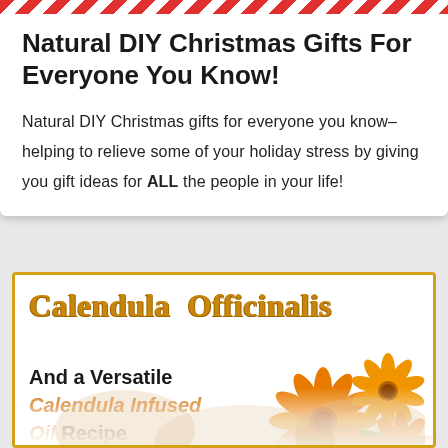Natural DIY Christmas Gifts For Everyone You Know!
Natural DIY Christmas gifts for everyone you know–helping to relieve some of your holiday stress by giving you gift ideas for ALL the people in your life!
[Figure (illustration): Calendula Officinalis card with orange flowers, mortar and pestle, text 'And a Versatile Calendula Infused Oil Recipe']